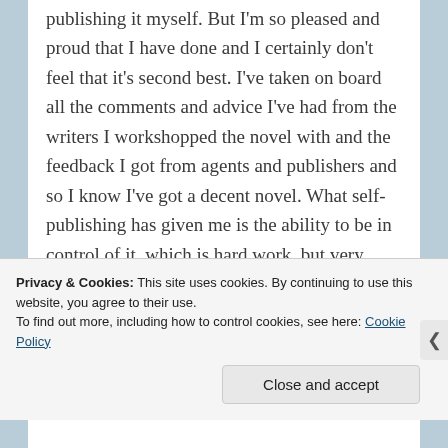publishing it myself. But I'm so pleased and proud that I have done and I certainly don't feel that it's second best. I've taken on board all the comments and advice I've had from the writers I workshopped the novel with and the feedback I got from agents and publishers and so I know I've got a decent novel. What self-publishing has given me is the ability to be in control of it, which is hard work, but very satisfying being able to choose the cover, arrange for it to be proofread and organise the marketing and promoting side of things. It's been a very positive experience so far and hopefully it's just the
Privacy & Cookies: This site uses cookies. By continuing to use this website, you agree to their use.
To find out more, including how to control cookies, see here: Cookie Policy